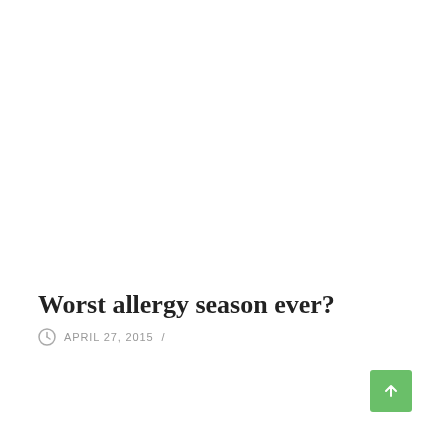Worst allergy season ever?
APRIL 27, 2015 /